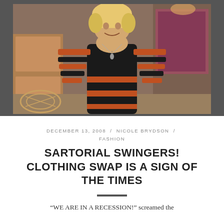[Figure (photo): Photo of a woman in a black and orange striped top, smiling, with shop or restaurant background]
DECEMBER 13, 2008 / NICOLE BRYDSON / FASHION
SARTORIAL SWINGERS! CLOTHING SWAP IS A SIGN OF THE TIMES
“WE ARE IN A RECESSION!” screamed the